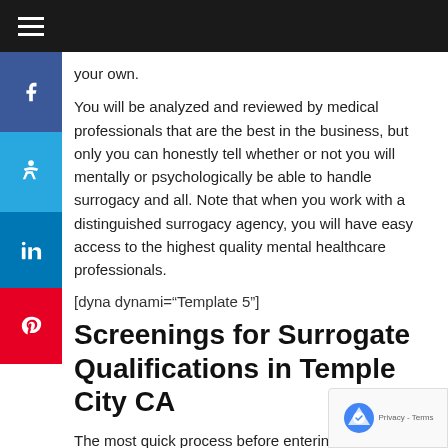Navigation bar with hamburger menu
your own.
You will be analyzed and reviewed by medical professionals that are the best in the business, but only you can honestly tell whether or not you will mentally or psychologically be able to handle surrogacy and all. Note that when you work with a distinguished surrogacy agency, you will have easy access to the highest quality mental healthcare professionals.
[dyna dynami="Template 5"]
Screenings for Surrogate Qualifications in Temple City CA
The most quick process before entering into the pot become a surrogate in Temple City CA is to have medical and psychological screenings. The fertility clinic